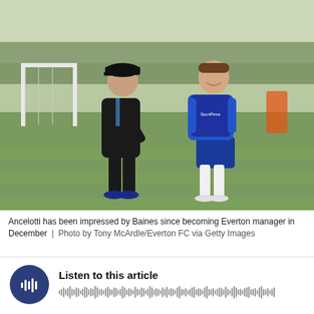[Figure (photo): Carlo Ancelotti and Leighton Baines walking and talking on a training pitch at Everton's training ground. Baines wears a blue Everton training kit with 'SportPesa' on the bib. Ancelotti wears a dark jacket and cap and holds an orange training cone. A football goal is visible in the background.]
Ancelotti has been impressed by Baines since becoming Everton manager in December | Photo by Tony McArdle/Everton FC via Getty Images
Listen to this article